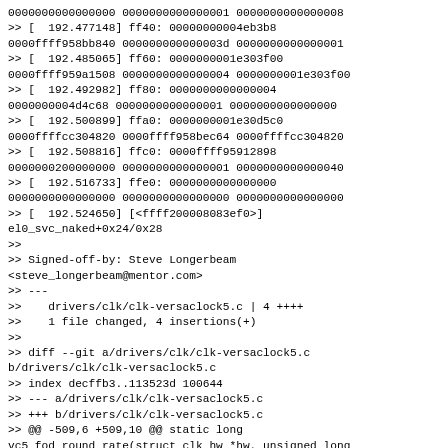0000000000000000 0000000000000001 0000000000000008
>> [  192.477148] ff40: 00000000004eb3b8
0000ffff958bb840 000000000000003d 0000000000000001
>> [  192.485065] ff60: 0000000001e303f00
0000ffff959a1508 0000000000000004 0000000001e303f00
>> [  192.492982] ff80: 0000000000000004
0000000004d4c68 0000000000000001 0000000000000000
>> [  192.500899] ffa0: 0000000001e30d5c0
0000ffffcc304820 0000ffff958bec64 0000ffffcc304820
>> [  192.508816] ffc0: 0000ffff95912898
0000000200000000 0000000000000001 0000000000000040
>> [  192.516733] ffe0: 0000000000000000
0000000000000000 0000000000000000 0000000000000000
>> [  192.524650] [<ffff200008083ef0>]
el0_svc_naked+0x24/0x28
>>
>> Signed-off-by: Steve Longerbeam
<steve_longerbeam@mentor.com>
>> ---
>>    drivers/clk/clk-versaclock5.c | 4 ++++
>>    1 file changed, 4 insertions(+)
>>
>> diff --git a/drivers/clk/clk-versaclock5.c
b/drivers/clk/clk-versaclock5.c
>> index decffb3..113523d 100644
>> --- a/drivers/clk/clk-versaclock5.c
>> +++ b/drivers/clk/clk-versaclock5.c
>> @@ -509,6 +509,10 @@ static long
vc5_fod_round_rate(struct clk_hw *hw, unsigned long
rate,